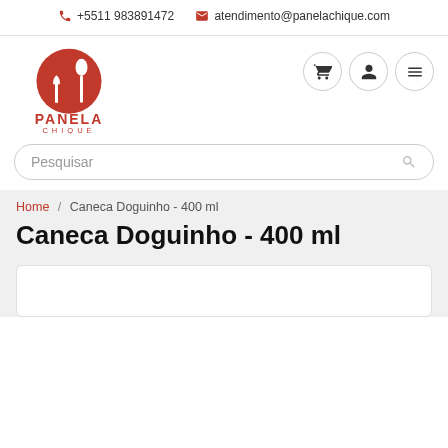+5511 983891472   atendimento@panelachique.com
[Figure (logo): Panela Chique logo — red circle with fork/spoon icon, text PANELA CHIQUE below]
Pesquisar
Home / Caneca Doguinho - 400 ml
Caneca Doguinho - 400 ml